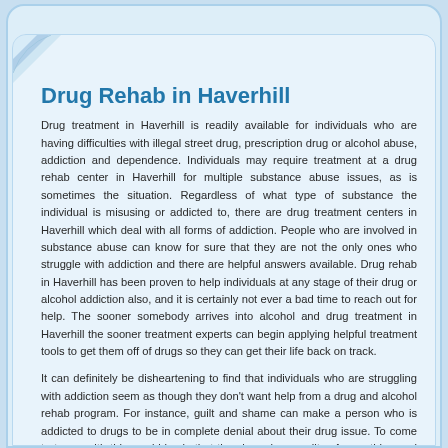Drug Rehab in Haverhill
Drug treatment in Haverhill is readily available for individuals who are having difficulties with illegal street drug, prescription drug or alcohol abuse, addiction and dependence. Individuals may require treatment at a drug rehab center in Haverhill for multiple substance abuse issues, as is sometimes the situation. Regardless of what type of substance the individual is misusing or addicted to, there are drug treatment centers in Haverhill which deal with all forms of addiction. People who are involved in substance abuse can know for sure that they are not the only ones who struggle with addiction and there are helpful answers available. Drug rehab in Haverhill has been proven to help individuals at any stage of their drug or alcohol addiction also, and it is certainly not ever a bad time to reach out for help. The sooner somebody arrives into alcohol and drug treatment in Haverhill the sooner treatment experts can begin applying helpful treatment tools to get them off of drugs so they can get their life back on track.
It can definitely be disheartening to find that individuals who are struggling with addiction seem as though they don't want help from a drug and alcohol rehab program. For instance, guilt and shame can make a person who is addicted to drugs to be in complete denial about their drug issue. To come to terms with this would imply that they have been guilty of something and have harmed themselves and other individuals because of this. To help rescue these persons before it is too late and they are impacted by too many detrimental effects